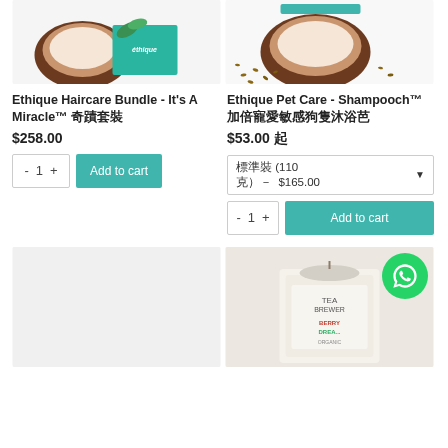[Figure (photo): Top-left product photo: coconut and Ethique haircare product box on white background]
[Figure (photo): Top-right product photo: coconut with small seeds/flax scattered on white background with teal product]
Ethique Haircare Bundle - It's A Miracle™ 奇蹟套裝
$258.00
- 1 +
Add to cart
Ethique Pet Care - Shampooch™ 加倍寵愛敏感狗隻沐浴芭
$53.00 起
標準裝 (110 克）－ $165.00
- 1 +
Add to cart
[Figure (photo): Bottom-left product photo placeholder (light gray)]
[Figure (photo): Bottom-right product photo: Tea Brewer Berry Dream Organic bag with WhatsApp floating button overlay]